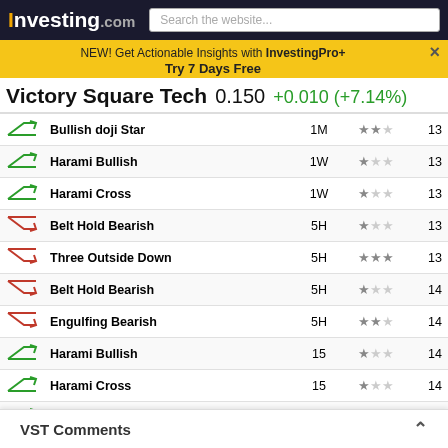Investing.com | Search the website...
NEW! Get Actionable Insights with InvestingPro+ Try 7 Days Free
Victory Square Tech  0.150  +0.010 (+7.14%)
|  | Pattern | Period | Stars | Num |
| --- | --- | --- | --- | --- |
| ↗ bullish | Bullish doji Star | 1M | ★★☆ | 13 |
| ↗ bullish | Harami Bullish | 1W | ★☆☆ | 13 |
| ↗ bullish | Harami Cross | 1W | ★☆☆ | 13 |
| ↘ bearish | Belt Hold Bearish | 5H | ★☆☆ | 13 |
| ↘ bearish | Three Outside Down | 5H | ★★★ | 13 |
| ↘ bearish | Belt Hold Bearish | 5H | ★☆☆ | 14 |
| ↘ bearish | Engulfing Bearish | 5H | ★★☆ | 14 |
| ↗ bullish | Harami Bullish | 15 | ★☆☆ | 14 |
| ↗ bullish | Harami Cross | 15 | ★☆☆ | 14 |
| ↗ bullish | Inverted Hammer | 1W | ★☆☆ | 15 |
| ↗ bullish | Tri-Star Bullish | 30 | ★★☆ | 15 |
| ↘ bearish | Belt Hold Bearish | 15 | ★☆☆ | 15 |
| ↘ bearish | Engulfing... | ... | ... | ... |
| ↗ bullish | Tri-Star B... | ... | ... | ... |
VST Comments